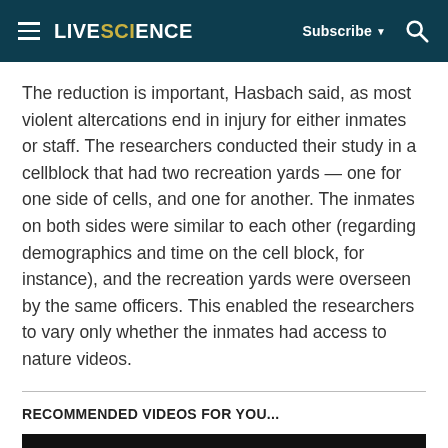LIVESCIENCE | Subscribe | Search
The reduction is important, Hasbach said, as most violent altercations end in injury for either inmates or staff. The researchers conducted their study in a cellblock that had two recreation yards — one for one side of cells, and one for another. The inmates on both sides were similar to each other (regarding demographics and time on the cell block, for instance), and the recreation yards were overseen by the same officers. This enabled the researchers to vary only whether the inmates had access to nature videos.
RECOMMENDED VIDEOS FOR YOU...